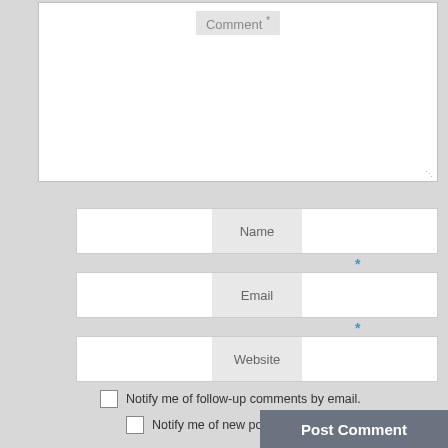[Figure (screenshot): Web comment form with Comment textarea, Name field with required asterisk, Email field with required asterisk, Website field, two notification checkboxes, and Post Comment button]
Comment *
Name *
Email *
Website
Notify me of follow-up comments by email.
Notify me of new posts by email.
Post Comment